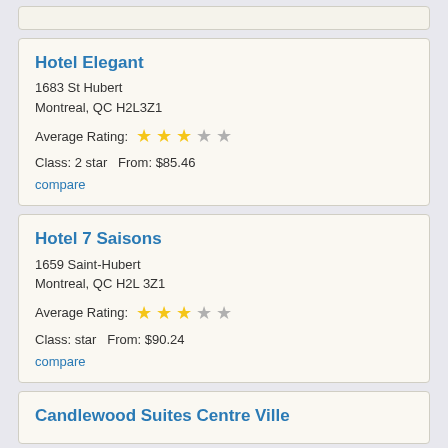Hotel Elegant
1683 St Hubert
Montreal, QC H2L3Z1
Average Rating: ★★★☆☆
Class: 2 star   From: $85.46
compare
Hotel 7 Saisons
1659 Saint-Hubert
Montreal, QC H2L 3Z1
Average Rating: ★★★☆☆
Class: star   From: $90.24
compare
Candlewood Suites Centre Ville